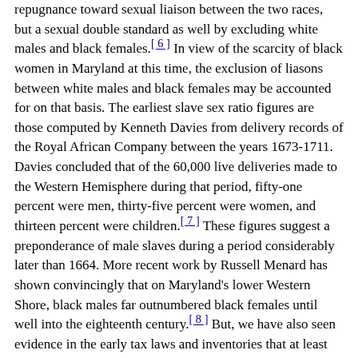repugnance toward sexual liaison between the two races, but a sexual double standard as well by excluding white males and black females.[6] In view of the scarcity of black women in Maryland at this time, the exclusion of liasons between white males and black females may be accounted for on that basis. The earliest slave sex ratio figures are those computed by Kenneth Davies from delivery records of the Royal African Company between the years 1673-1711. Davies concluded that of the 60,000 live deliveries made to the Western Hemisphere during that period, fifty-one percent were men, thirty-five percent were women, and thirteen percent were children.[7] These figures suggest a preponderance of male slaves during a period considerably later than 1664. More recent work by Russell Menard has shown convincingly that on Maryland's lower Western Shore, black males far outnumbered black females until well into the eighteenth century.[8] But, we have also seen evidence in the early tax laws and inventories that at least some black women were present in Maryland before 1664.
While the 1664 law was important in giving legal definition to racial slavery, it was evidently inadequate to deal with the particular problem at which it was aimed, keeping Christian blacks as slaves. In 1671, the Assembly had to forge a new act using more explicit language. While the earlier law only implied that Christianity could not enfranchise a black, the 1671 law was less equivocal. Observing that many planters were reluctant to see to